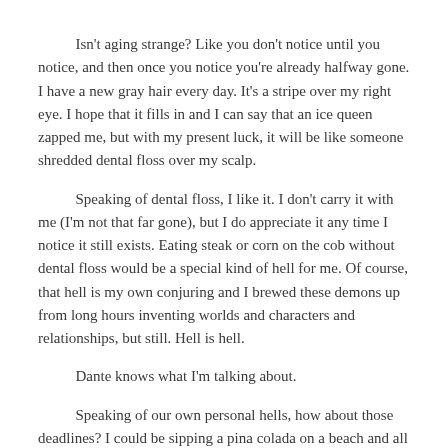Isn't aging strange? Like you don't notice until you notice, and then once you notice you're already halfway gone. I have a new gray hair every day. It's a stripe over my right eye. I hope that it fills in and I can say that an ice queen zapped me, but with my present luck, it will be like someone shredded dental floss over my scalp.
Speaking of dental floss, I like it. I don't carry it with me (I'm not that far gone), but I do appreciate it any time I notice it still exists. Eating steak or corn on the cob without dental floss would be a special kind of hell for me. Of course, that hell is my own conjuring and I brewed these demons up from long hours inventing worlds and characters and relationships, but still. Hell is hell.
Dante knows what I'm talking about.
Speaking of our own personal hells, how about those deadlines? I could be sipping a pina colada on a beach and all that my brain would have to do is, hey, you remember that thing